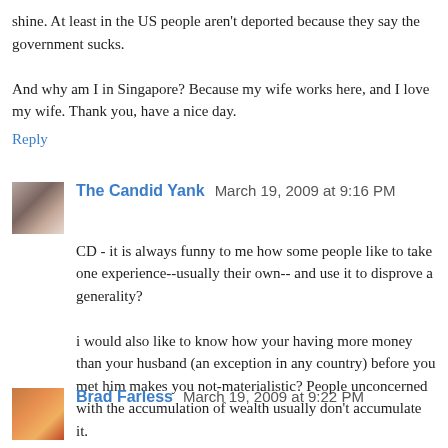shine. At least in the US people aren't deported because they say the government sucks.
And why am I in Singapore? Because my wife works here, and I love my wife. Thank you, have a nice day.
Reply
The Candid Yank   March 19, 2009 at 9:16 PM
CD - it is always funny to me how some people like to take one experience--usually their own-- and use it to disprove a generality?
i would also like to know how your having more money than your husband (an exception in any country) before you met him makes you not-materialistic? People unconcerned with the accumulation of wealth usually don't accumulate it.
Reply
Brad Farless   March 19, 2009 at 9:22 PM